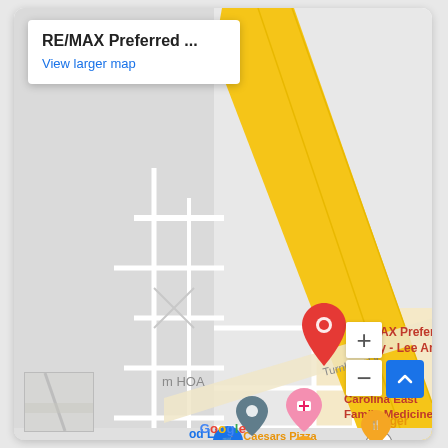[Figure (map): Google Maps screenshot showing RE/MAX Preferred Realty - Lee And... location with a red pin marker. Also visible: Carolina East Family Medicine with a pink map marker, a grey pin marker, Food Lion with blue marker, Little Caesars Pizza, Burger restaurant with orange marker, road 43, Turnbury Dr. A yellow diagonal road runs through the map. Info box at top left shows 'RE/MAX Preferred ...' and 'View larger map'. Zoom controls (+/-) at bottom right with a blue arrow button. Mini map thumbnail at bottom left. Google logo at bottom center.]